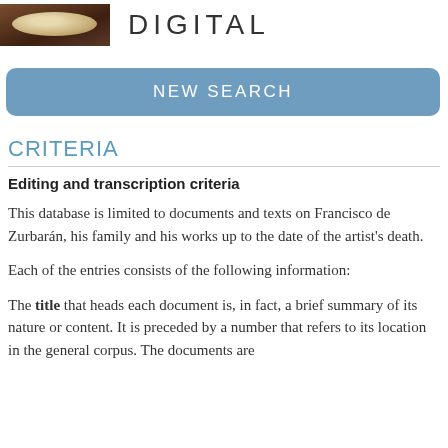DIGITAL
NEW SEARCH
CRITERIA
Editing and transcription criteria
This database is limited to documents and texts on Francisco de Zurbarán, his family and his works up to the date of the artist's death.
Each of the entries consists of the following information:
The title that heads each document is, in fact, a brief summary of its nature or content. It is preceded by a number that refers to its location in the general corpus. The documents are